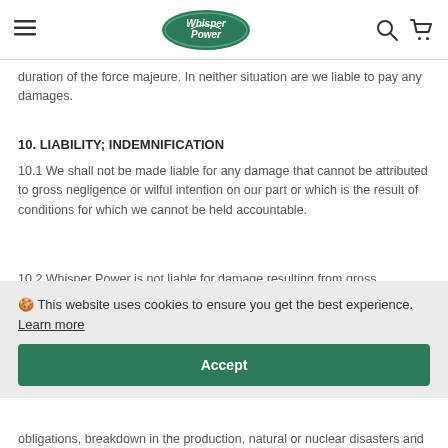WhisperPower [logo] [search] [cart]
duration of the force majeure. In neither situation are we liable to pay any damages.
10. LIABILITY; INDEMNIFICATION
10.1 We shall not be made liable for any damage that cannot be attributed to gross negligence or wilful intention on our part or which is the result of conditions for which we cannot be held accountable.
10.2 Whisper Power is not liable for damage resulting from gross
🍪 This website uses cookies to ensure you get the best experience. Learn more
Accept
obligations, breakdown in the production, natural or nuclear disasters and